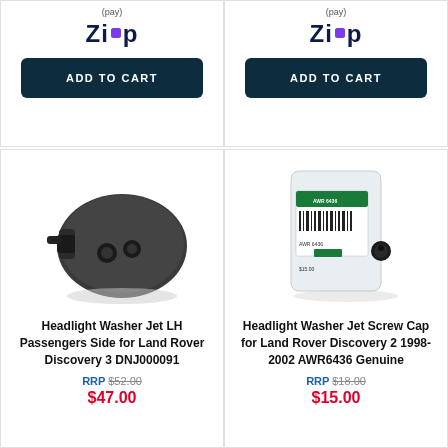[Figure (logo): Zip payment logo top-left card]
ADD TO CART
[Figure (logo): Zip payment logo top-right card]
ADD TO CART
[Figure (photo): Headlight Washer Jet LH product photo - dark plastic washer nozzle assembly]
Headlight Washer Jet LH Passengers Side for Land Rover Discovery 3 DNJ000091
RRP $52.00
$47.00
[Figure (photo): Headlight Washer Jet Screw Cap product photo - small black screw cap in plastic bag]
Headlight Washer Jet Screw Cap for Land Rover Discovery 2 1998-2002 AWR6436 Genuine
RRP $18.00
$15.00